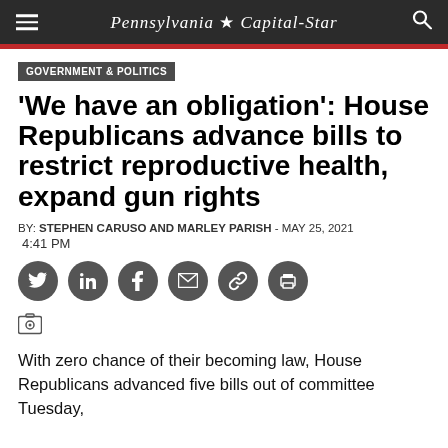Pennsylvania ★ Capital-Star
GOVERNMENT & POLITICS
'We have an obligation': House Republicans advance bills to restrict reproductive health, expand gun rights
BY: STEPHEN CARUSO AND MARLEY PARISH - MAY 25, 2021 4:41 PM
[Figure (infographic): Social share icons for Twitter, LinkedIn, Facebook, Email, Link, and Print]
[Figure (other): Camera/photo icon indicating image placeholder]
With zero chance of their becoming law, House Republicans advanced five bills out of committee Tuesday, these pieces covering abortion and the right to bear arms.